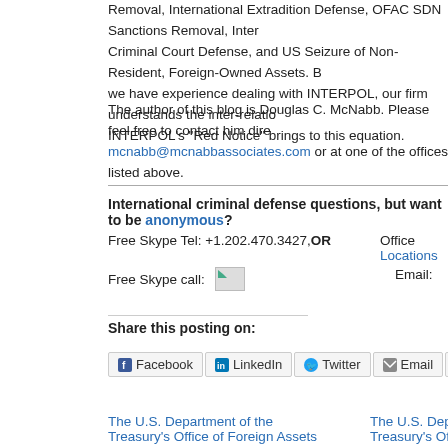Removal, International Extradition Defense, OFAC SDN Sanctions Removal, International Criminal Court Defense, and US Seizure of Non-Resident, Foreign-Owned Assets. Because we have experience dealing with INTERPOL, our firm understands the inter-relationship that INTERPOL's "Red Notice" brings to this equation.
The author of this blog is Douglas C. McNabb. Please feel free to contact him directly at mcnabb@mcnabbassociates.com or at one of the offices listed above.
International criminal defense questions, but want to be anonymous?
Free Skype Tel: +1.202.470.3427, OR    Office Locations
Free Skype call:    Email:
Share this posting on:
Facebook  LinkedIn  Twitter  Email  Print
The U.S. Department of the Treasury's Office of Foreign Assets
The U.S. Department of the Treasury's Office of Foreign As